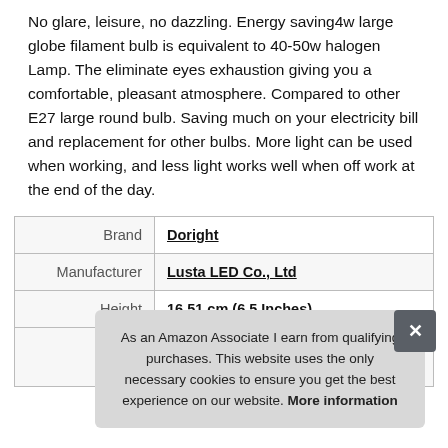No glare, leisure, no dazzling. Energy saving4w large globe filament bulb is equivalent to 40-50w halogen Lamp. The eliminate eyes exhaustion giving you a comfortable, pleasant atmosphere. Compared to other E27 large round bulb. Saving much on your electricity bill and replacement for other bulbs. More light can be used when working, and less light works well when off work at the end of the day.
|  |  |
| --- | --- |
| Brand | Doright |
| Manufacturer | Lusta LED Co., Ltd |
| Height | 16.51 cm (6.5 Inches) |
| P |  |
As an Amazon Associate I earn from qualifying purchases. This website uses the only necessary cookies to ensure you get the best experience on our website. More information